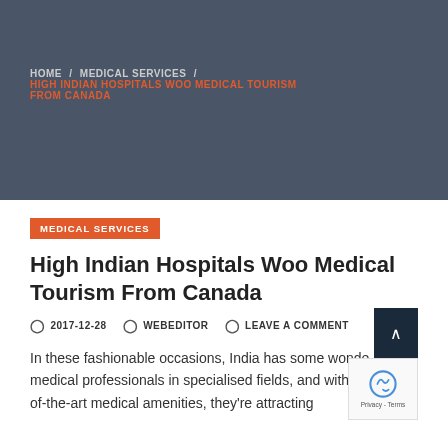HOME / MEDICAL SERVICES / HIGH INDIAN HOSPITALS WOO MEDICAL TOURISM FROM CANADA
MEDICAL SERVICES
High Indian Hospitals Woo Medical Tourism From Canada
2017-12-28  WEBEDITOR  LEAVE A COMMENT
In these fashionable occasions, India has some wonderful medical professionals in specialised fields, and with the state-of-the-art medical amenities, they're attracting